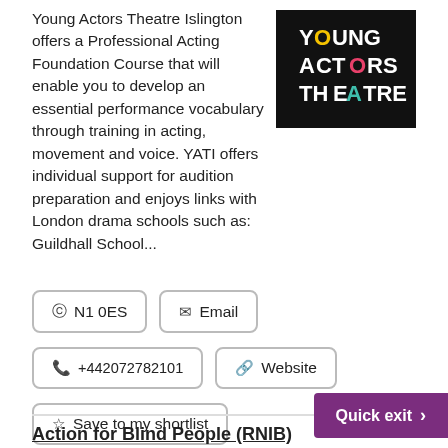Young Actors Theatre Islington offers a Professional Acting Foundation Course that will enable you to develop an essential performance vocabulary through training in acting, movement and voice. YATI offers individual support for audition preparation and enjoys links with London drama schools such as: Guildhall School...
[Figure (logo): Young Actors Theatre logo — white text on black background reading YOUNG ACTORS THEATRE with colored letters O (yellow), O (pink/red), A (teal)]
N1 0ES
Email
+442072782101
Website
Save to my shortlist
Action for Blind People (RNIB)
Quick exit >